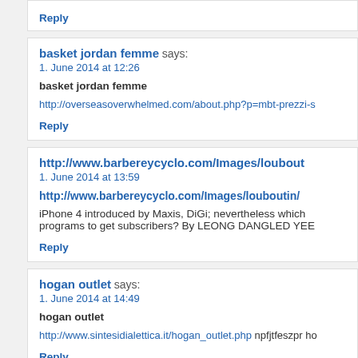Reply
basket jordan femme says:
1. June 2014 at 12:26
basket jordan femme
http://overseasoverwhelmed.com/about.php?p=mbt-prezzi-s
Reply
http://www.barbereycyclo.com/Images/loubout
1. June 2014 at 13:59
http://www.barbereycyclo.com/Images/louboutin/
iPhone 4 introduced by Maxis, DiGi; nevertheless which programs to get subscribers? By LEONG DANGLED YEE
Reply
hogan outlet says:
1. June 2014 at 14:49
hogan outlet
http://www.sintesidialettica.it/hogan_outlet.php npfjtfeszpr ho
Reply